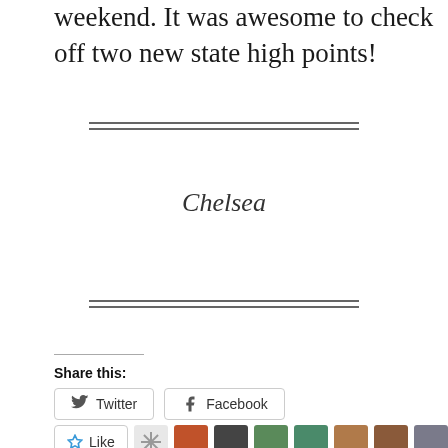weekend. It was awesome to check off two new state high points!
Chelsea
Share this:
Twitter
Facebook
92 bloggers like this.
Related